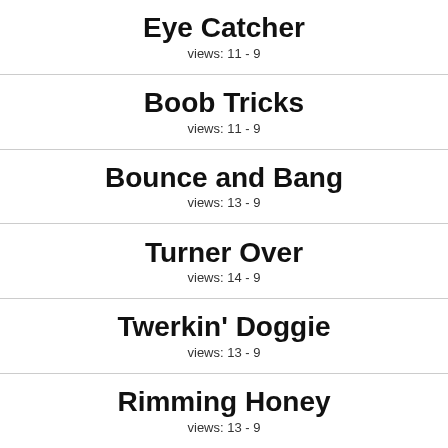Eye Catcher
views: 11 - 9
Boob Tricks
views: 11 - 9
Bounce and Bang
views: 13 - 9
Turner Over
views: 14 - 9
Twerkin' Doggie
views: 13 - 9
Rimming Honey
views: 13 - 9